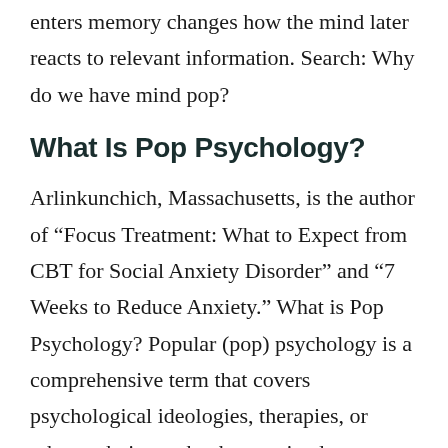enters memory changes how the mind later reacts to relevant information. Search: Why do we have mind pop?
What Is Pop Psychology?
Arlinkunchich, Massachusetts, is the author of “Focus Treatment: What to Expect from CBT for Social Anxiety Disorder” and “7 Weeks to Reduce Anxiety.” What is Pop Psychology? Popular (pop) psychology is a comprehensive term that covers psychological ideologies, therapies, or other techniques that have gained popularity through books, television shows, or blog posts. What is Pop Psychology?